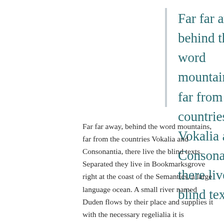Far far away, behind the word mountains, far from the countries Vokalia and Consonantia, there live the blind texts.
Far far away, behind the word mountains, far from the countries Vokalia and Consonantia, there live the blind texts. Separated they live in Bookmarksgrove right at the coast of the Semantics, a large language ocean. A small river named Duden flows by their place and supplies it with the…